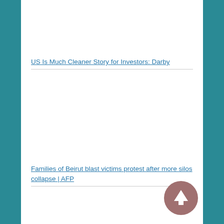US Is Much Cleaner Story for Investors: Darby
Families of Beirut blast victims protest after more silos collapse | AFP